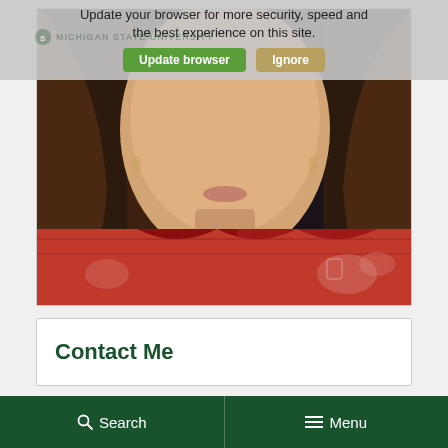Update your browser for more security, speed and the best experience on this site.
Update browser   Ignore
[Figure (photo): Close-up photo of a woman with long dark brown hair wearing a red patterned jacket/blouse. Dark background. The photo is cropped showing from the neck/chin area upward and shoulders.]
Contact Me
🔍 Search   ≡ Menu